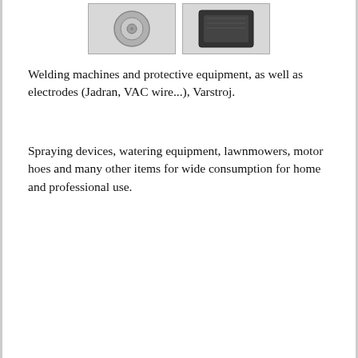[Figure (photo): Two product images side by side: left shows a circular spool/reel (likely welding wire), right shows a dark packaged item (likely electrodes or protective equipment)]
Welding machines and protective equipment, as well as electrodes (Jadran, VAC wire...), Varstroj.
Spraying devices, watering equipment, lawnmowers, motor hoes and many other items for wide consumption for home and professional use.